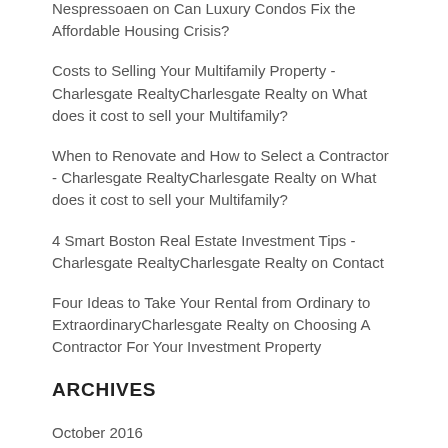Nespressoaen on Can Luxury Condos Fix the Affordable Housing Crisis?
Costs to Selling Your Multifamily Property - Charlesgate RealtyCharlesgate Realty on What does it cost to sell your Multifamily?
When to Renovate and How to Select a Contractor - Charlesgate RealtyCharlesgate Realty on What does it cost to sell your Multifamily?
4 Smart Boston Real Estate Investment Tips - Charlesgate RealtyCharlesgate Realty on Contact
Four Ideas to Take Your Rental from Ordinary to ExtraordinaryCharlesgate Realty on Choosing A Contractor For Your Investment Property
ARCHIVES
October 2016
July 2016
February 2016